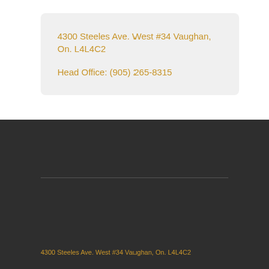4300 Steeles Ave. West #34 Vaughan, On. L4L4C2

Head Office: (905) 265-8315
4300 Steeles Ave. West #34 Vaughan, On. L4L4C2